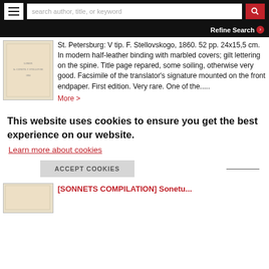search author, title, or keyword | Refine Search
[Figure (photo): Thumbnail of an old book cover with faint text]
St. Petersburg: V tip. F. Stellovskogo, 1860. 52 pp. 24x15,5 cm. In modern half-leather binding with marbled covers; gilt lettering on the spine. Title page repared, some soiling, otherwise very good. Facsimile of the translator's signature mounted on the front endpaper. First edition. Very rare. One of the.....
More >
This website uses cookies to ensure you get the best experience on our website.
Learn more about cookies
ACCEPT COOKIES
[Figure (photo): Thumbnail of another old book cover]
[SONNETS COMPILATION] Sonetu...